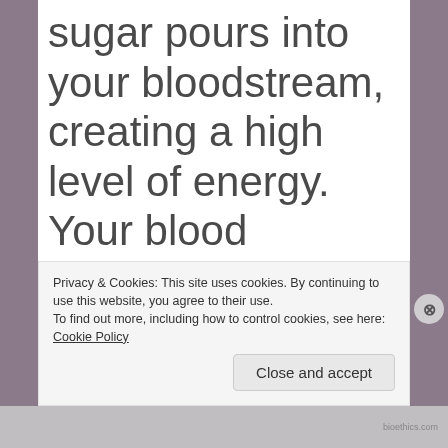sugar pours into your bloodstream, creating a high level of energy. Your blood pressure increases and your heart beats faster to circulate blood more rapidly. Large amounts of adrenaline are released
Privacy & Cookies: This site uses cookies. By continuing to use this website, you agree to their use.
To find out more, including how to control cookies, see here: Cookie Policy
Close and accept